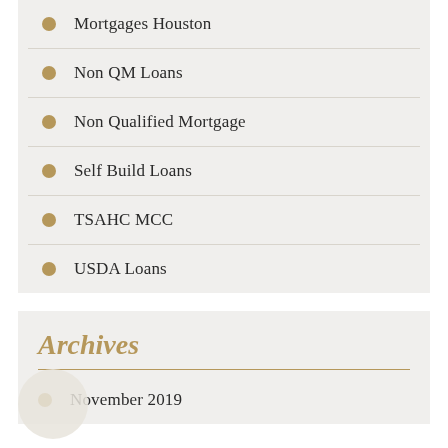Mortgages Houston
Non QM Loans
Non Qualified Mortgage
Self Build Loans
TSAHC MCC
USDA Loans
Archives
November 2019